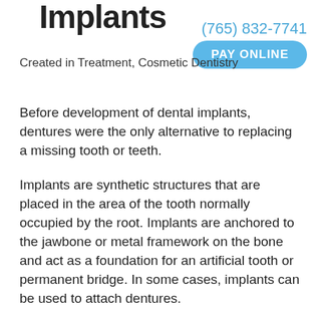Implants
(765) 832-7741
PAY ONLINE
Created in Treatment, Cosmetic Dentistry
Before development of dental implants, dentures were the only alternative to replacing a missing tooth or teeth.
Implants are synthetic structures that are placed in the area of the tooth normally occupied by the root. Implants are anchored to the jawbone or metal framework on the bone and act as a foundation for an artificial tooth or permanent bridge. In some cases, implants can be used to attach dentures.
Not everyone is a candidate for a dental implant, however. For a successful implant to take hold, a candidate must have proper bone density and have a strong immune system. In all cases, dental implants require strict oral hygiene.